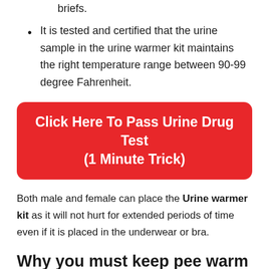briefs.
It is tested and certified that the urine sample in the urine warmer kit maintains the right temperature range between 90-99 degree Fahrenheit.
[Figure (other): Red rounded rectangle button with white text: Click Here To Pass Urine Drug Test (1 Minute Trick)]
Both male and female can place the Urine warmer kit as it will not hurt for extended periods of time even if it is placed in the underwear or bra.
Why you must keep pee warm before going to the test